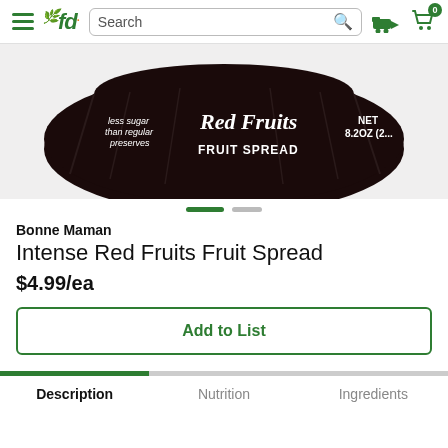fd Search [search icon] [truck icon] [cart icon] 0
[Figure (photo): Close-up of a Bonne Maman Intense Red Fruits Fruit Spread jar lid, dark background with cursive and sans-serif text reading: less sugar than regular preserves, Red Fruits, FRUIT SPREAD, NET 8.2OZ (2...)]
Bonne Maman
Intense Red Fruits Fruit Spread
$4.99/ea
Add to List
Description  Nutrition  Ingredients